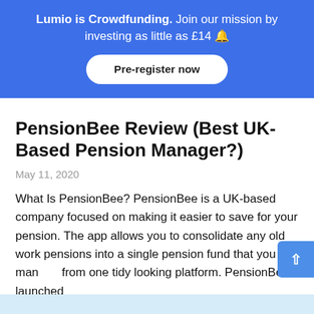Lumio is Crowdfunding. Join our mission by investing as little as £14 🔔
Pre-register now
PensionBee Review (Best UK-Based Pension Manager?)
May 11, 2020
What Is PensionBee? PensionBee is a UK-based company focused on making it easier to save for your pension. The app allows you to consolidate any old work pensions into a single pension fund that you can man… from one tidy looking platform. PensionBee launched…